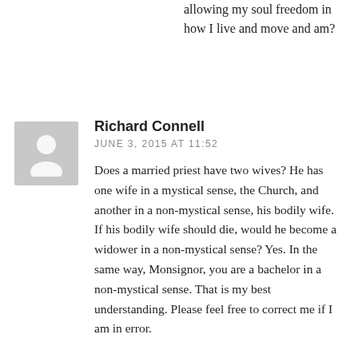allowing my soul freedom in how I live and move and am?
Richard Connell
JUNE 3, 2015 AT 11:52
Does a married priest have two wives? He has one wife in a mystical sense, the Church, and another in a non-mystical sense, his bodily wife. If his bodily wife should die, would he become a widower in a non-mystical sense? Yes. In the same way, Monsignor, you are a bachelor in a non-mystical sense. That is my best understanding. Please feel free to correct me if I am in error.